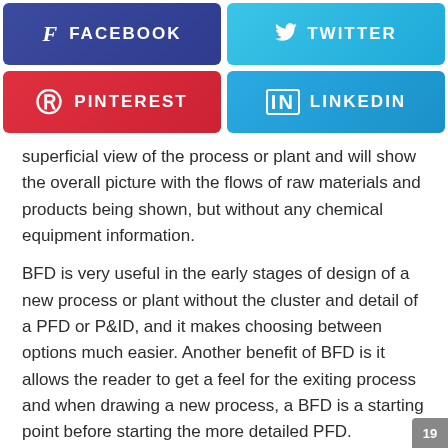[Figure (infographic): Social media share buttons: Facebook (purple-blue), Twitter (light blue), Pinterest (red), LinkedIn (blue)]
superficial view of the process or plant and will show the overall picture with the flows of raw materials and products being shown, but without any chemical equipment information.
BFD is very useful in the early stages of design of a new process or plant without the cluster and detail of a PFD or P&ID, and it makes choosing between options much easier. Another benefit of BFD is it allows the reader to get a feel for the exiting process and when drawing a new process, a BFD is a starting point before starting the more detailed PFD.
19